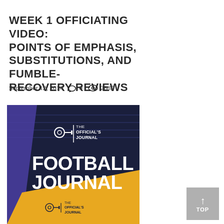WEEK 1 OFFICIATING VIDEO: POINTS OF EMPHASIS, SUBSTITUTIONS, AND FUMBLE-RECOVERY REVIEWS
September 12, 2014  0  2885
[Figure (photo): Cover of The Official's Journal Football Journal publication, showing dark navy background with football field markings, bold white text 'FOOTBALL JOURNAL', official whistle logo, and a yellow/gold angled banner at bottom with the same logo and journal title.]